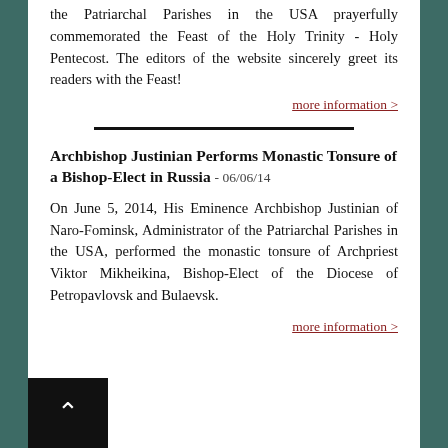the Patriarchal Parishes in the USA prayerfully commemorated the Feast of the Holy Trinity - Holy Pentecost. The editors of the website sincerely greet its readers with the Feast!
more information >
Archbishop Justinian Performs Monastic Tonsure of a Bishop-Elect in Russia - 06/06/14
On June 5, 2014, His Eminence Archbishop Justinian of Naro-Fominsk, Administrator of the Patriarchal Parishes in the USA, performed the monastic tonsure of Archpriest Viktor Mikheikina, Bishop-Elect of the Diocese of Petropavlovsk and Bulaevsk.
more information >